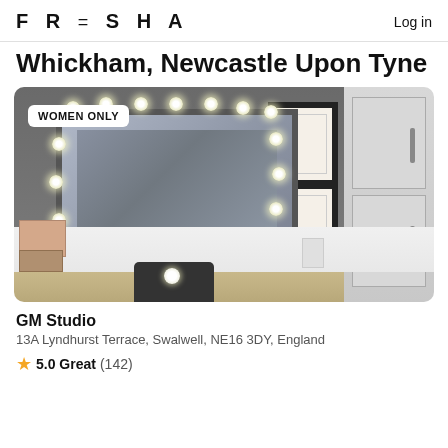FRESHA  Log in
Whickham, Newcastle Upon Tyne
[Figure (photo): Interior photo of a beauty studio showing a vanity mirror surrounded by Hollywood-style light bulbs, a white desk surface, framed certificates on the wall, white cabinets, and a black stool. A 'WOMEN ONLY' badge is overlaid in the top-left corner.]
GM Studio
13A Lyndhurst Terrace, Swalwell, NE16 3DY, England
⭐ 5.0 Great (142)